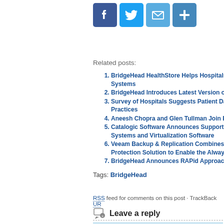[Figure (other): Social share icons row: Facebook, Twitter, Email, AddThis buttons]
Related posts:
1. BridgeHead HealthStore Helps Hospitals Systems
2. BridgeHead Introduces Latest Version of
3. Survey of Hospitals Suggests Patient Data Practices
4. Aneesh Chopra and Glen Tullman Join B
5. Catalogic Software Announces Support for Systems and Virtualization Software
6. Veeam Backup & Replication Combines with Protection Solution to Enable the Always-
7. BridgeHead Announces RAPid Approach
Tags: BridgeHead
RSS feed for comments on this post · TrackBack URL
Leave a reply